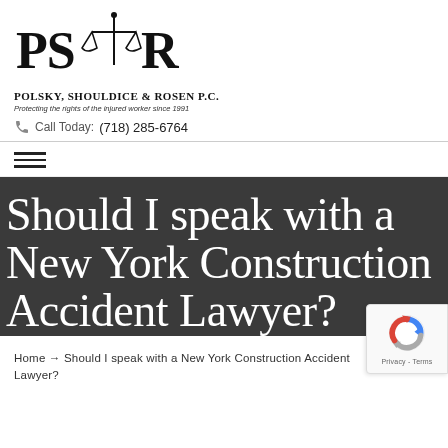[Figure (logo): Polsky, Shouldice & Rosen P.C. law firm logo with scales of justice icon, firm name, and tagline 'Protecting the rights of the injured worker since 1991']
Call Today: (718) 285-6764
[Figure (other): Hamburger menu icon with three horizontal lines]
Should I speak with a New York Construction Accident Lawyer?
Home → Should I speak with a New York Construction Accident Lawyer?